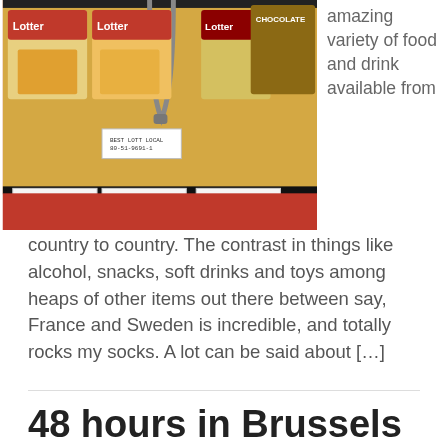[Figure (photo): Supermarket shelf with Lotter brand packaged food products and price tags with barcodes]
amazing variety of food and drink available from country to country. The contrast in things like alcohol, snacks, soft drinks and toys among heaps of other items out there between say, France and Sweden is incredible, and totally rocks my socks. A lot can be said about […]
48 hours in Brussels
March 11, 2010 by Chris Richardson — 5 Comments